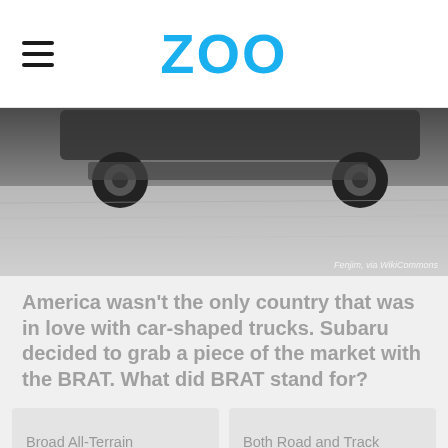ZOO
[Figure (photo): A grayscale photo showing the rear underside and wheels of a vehicle (likely a Subaru BRAT) on a light ground surface. Attribution text reads: Fenjim, via WikiCommons]
America wasn't the only country that was in love with car-shaped trucks. Subaru decided to grab a piece of the market with the BRAT. What did BRAT stand for?
Broad All-Terrain
Both Road and Track
Bi-drive Recreational All-terrain Transporter
Binary Reverse and Traction